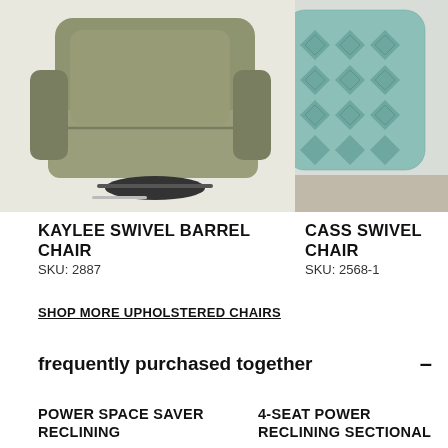[Figure (photo): Kaylee Swivel Barrel Chair in olive/sage green upholstered fabric, shown at an angle, with a black swivel base]
[Figure (photo): Cass Swivel Chair partially visible, upholstered in a teal/blue ikat patterned fabric]
KAYLEE SWIVEL BARREL CHAIR
SKU: 2887
CASS SWIVEL CHAIR
SKU: 2568-1
SHOP MORE UPHOLSTERED CHAIRS
frequently purchased together
POWER SPACE SAVER RECLINING
4-SEAT POWER RECLINING SECTIONAL